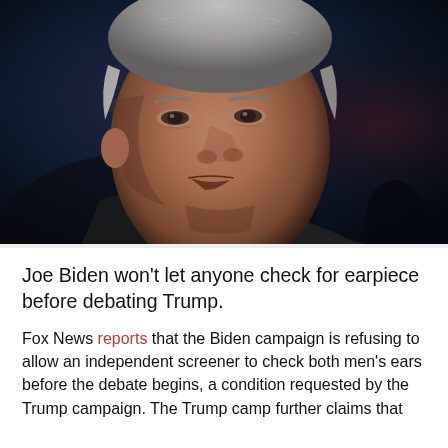[Figure (photo): Close-up photo of Joe Biden, an older white-haired man looking slightly upward, against a dark blue/black background. He is wearing a dark jacket with a light-colored shirt collar visible.]
Joe Biden won't let anyone check for earpiece before debating Trump.
Fox News reports that the Biden campaign is refusing to allow an independent screener to check both men's ears before the debate begins, a condition requested by the Trump campaign. The Trump camp further claims that